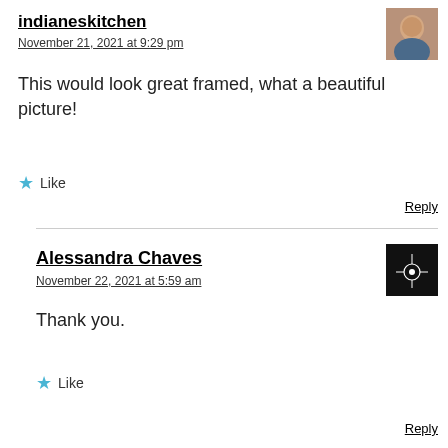indianeskitchen
November 21, 2021 at 9:29 pm
[Figure (photo): Avatar photo of indianeskitchen user]
This would look great framed, what a beautiful picture!
Like
Reply
Alessandra Chaves
November 22, 2021 at 5:59 am
[Figure (photo): Avatar photo of Alessandra Chaves user, dark background with white plant/flower illustration]
Thank you.
Like
Reply